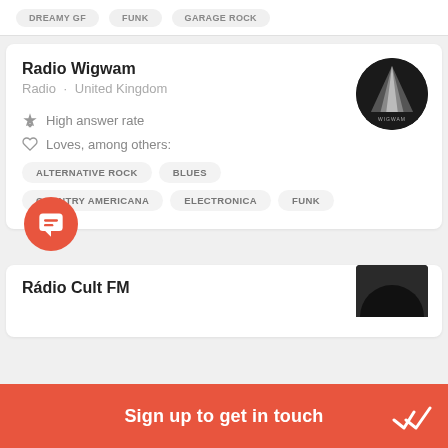DREAMY GF · FUNK · GARAGE ROCK
Radio Wigwam
Radio · United Kingdom
[Figure (logo): Radio Wigwam circular logo: black circle with geometric tent/wigwam shape in grey and white, text WIGWAM at bottom]
High answer rate
Loves, among others:
ALTERNATIVE ROCK
BLUES
COUNTRY AMERICANA
ELECTRONICA
FUNK
[Figure (illustration): Orange circular chat/message icon button]
Rádio Cult FM
[Figure (logo): Rádio Cult FM logo: black semicircle/hat shape]
Sign up to get in touch